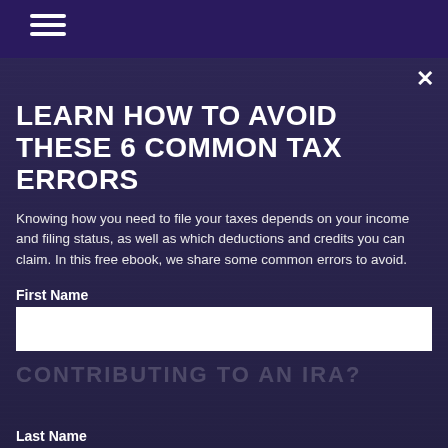LEARN HOW TO AVOID THESE 6 COMMON TAX ERRORS
Knowing how you need to file your taxes depends on your income and filing status, as well as which deductions and credits you can claim. In this free ebook, we share some common errors to avoid.
First Name
CONTRIBUTING TO AN IRA?
Last Name